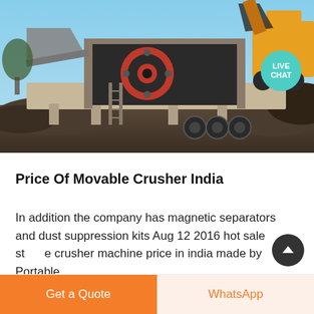[Figure (photo): A large mobile stone crusher machine mounted on a trailer/flatbed with heavy-duty tires, featuring a red flywheel and black body, parked at a mining or quarrying site with heaps of crushed rock and a yellow loader visible in the background. Blue sky overhead.]
Price Of Movable Crusher India
In addition the company has magnetic separators and dust suppression kits Aug 12 2016 hot sale stone crusher machine price in india made by Portable